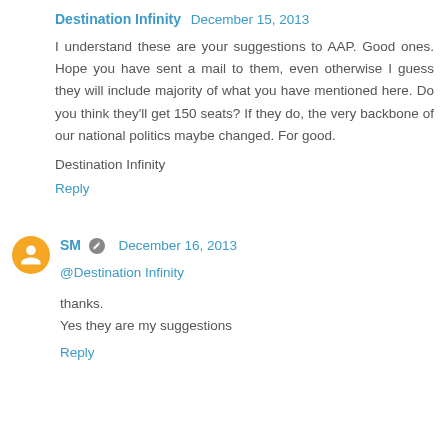Destination Infinity  December 15, 2013
I understand these are your suggestions to AAP. Good ones. Hope you have sent a mail to them, even otherwise I guess they will include majority of what you have mentioned here. Do you think they'll get 150 seats? If they do, the very backbone of our national politics maybe changed. For good.

Destination Infinity
Reply
SM  December 16, 2013
@Destination Infinity

thanks.
Yes they are my suggestions
Reply